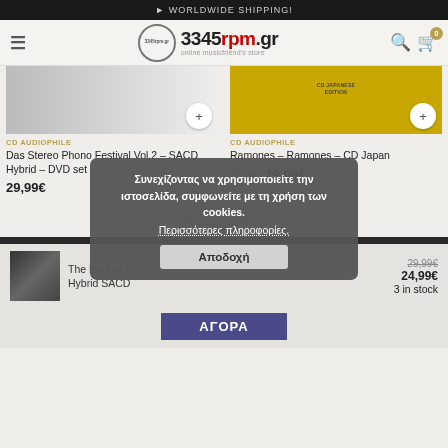► WORLDWIDE SHIPPING!
[Figure (logo): 3345rpm.gr online musicfriend's store logo]
[Figure (photo): Das Stereo Phono Festival Vol.2 – SACD Hybrid – DVD set product image]
CD AUDIOPHILE
Das Stereo Phono Festival Vol.2 – SACD Hybrid – DVD set
29,99€
[Figure (photo): Ramones – Ramones – CD Japan product image, CD Japanese Edition label]
CD AUDIOPHILE
Ramones – Ramones – CD Japan
29,99€ 19,99€
Previous - Next
[Figure (photo): The Best of New Y... Hybrid SACD product thumbnail]
The Best of New Y... Hybrid SACD
29,99€ 24,99€ 3 in stock
ΑΓΟΡΑ
Συνεχίζοντας να χρησιμοποιείτε την ιστοσελίδα, συμφωνείτε με τη χρήση των cookies.
Περισσότερες πληροφορίες.
Αποδοχή